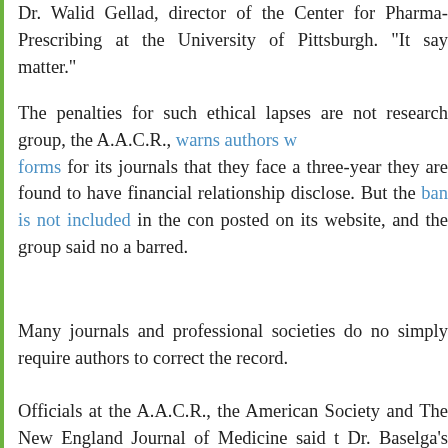Dr. Walid Gellad, director of the Center for Pharmaceutical Prescribing at the University of Pittsburgh. "It say matter."
The penalties for such ethical lapses are not research group, the A.A.C.R., warns authors w forms for its journals that they face a three-year they are found to have financial relationship disclose. But the ban is not included in the con posted on its website, and the group said no a barred.
Many journals and professional societies do no simply require authors to correct the record.
Officials at the A.A.C.R., the American Society and The New England Journal of Medicine said t Dr. Baselga's omissions after inquiries from The ProPublica. The Lancet declined to say whether